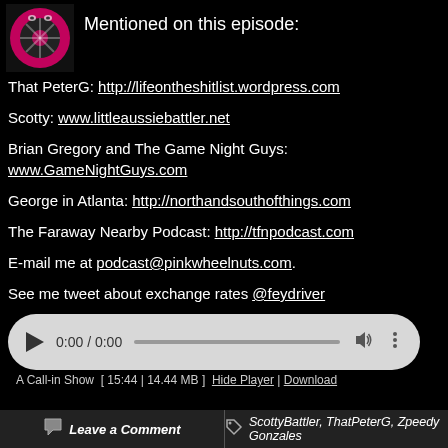[Figure (photo): Thumbnail image of a pink wheel/reel-to-reel object]
Mentioned on this episode:
That PeterG: http://lifeontheshitlist.wordpress.com
Scotty: www.littleaussiebattler.net
Brian Gregory and The Game Night Guys: www.GameNightGuys.com
George in Atlanta: http://northandsouthofthings.com
The Faraway Nearby Podcast: http://tfnpodcast.com
E-mail me at podcast@pinkwheelnuts.com.
See me tweet about exchange rates @feydriver
[Figure (screenshot): Audio player bar showing 0:00 / 0:00]
A Call-in Show  [ 15:44 | 14.44 MB ]  Hide Player | Download
Leave a Comment
ScottyBattler, ThatPeterG, Zpeedy Gonzales